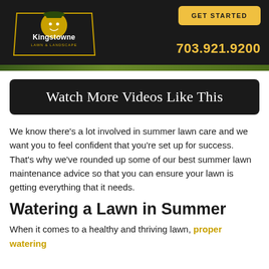[Figure (logo): Kingstowne Lawn & Landscape logo with cartoon landscaper character, GET STARTED button, and phone number 703.921.9200 on dark background header]
Watch More Videos Like This
We know there’s a lot involved in summer lawn care and we want you to feel confident that you’re set up for success. That’s why we’ve rounded up some of our best summer lawn maintenance advice so that you can ensure your lawn is getting everything that it needs.
Watering a Lawn in Summer
When it comes to a healthy and thriving lawn, proper watering